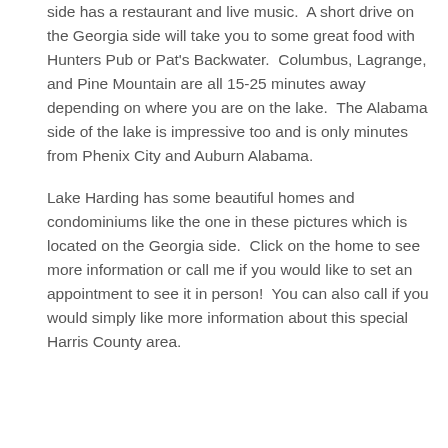side has a restaurant and live music.  A short drive on the Georgia side will take you to some great food with Hunters Pub or Pat's Backwater.  Columbus, Lagrange, and Pine Mountain are all 15-25 minutes away depending on where you are on the lake.  The Alabama side of the lake is impressive too and is only minutes from Phenix City and Auburn Alabama.
Lake Harding has some beautiful homes and condominiums like the one in these pictures which is located on the Georgia side.  Click on the home to see more information or call me if you would like to set an appointment to see it in person!  You can also call if you would simply like more information about this special Harris County area.